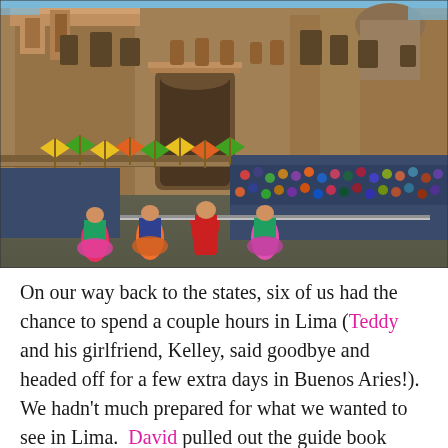[Figure (photo): A crowd gathered in front of a large stone cathedral (likely in Cusco, Peru) watching a street parade or festival. Performers in colorful traditional costumes dance in the street while spectators line the barriers. Yellow and green flags wave in the background.]
On our way back to the states, six of us had the chance to spend a couple hours in Lima (Teddy and his girlfriend, Kelley, said goodbye and headed off for a few extra days in Buenos Aries!).  We hadn't much prepared for what we wanted to see in Lima.  David pulled out the guide book